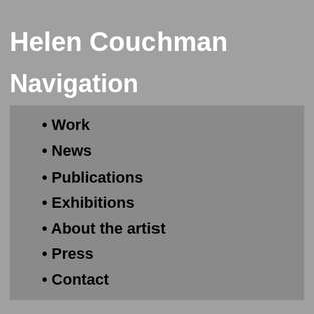Helen Couchman
Navigation
Work
News
Publications
Exhibitions
About the artist
Press
Contact
Archive: 2014
Happy holidays 2014